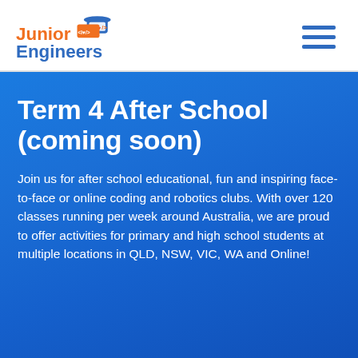[Figure (logo): Junior Engineers logo with orange and blue text and a robot/coding icon]
Term 4 After School (coming soon)
Join us for after school educational, fun and inspiring face-to-face or online coding and robotics clubs. With over 120 classes running per week around Australia, we are proud to offer activities for primary and high school students at multiple locations in QLD, NSW, VIC, WA and Online!